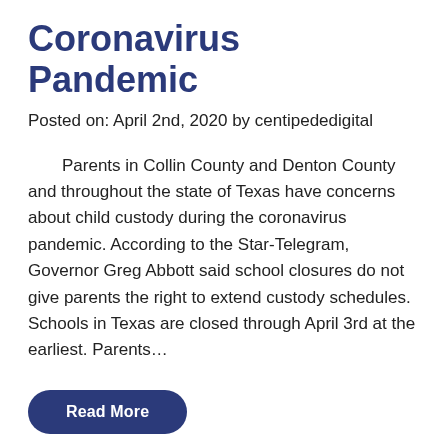Coronavirus Pandemic
Posted on: April 2nd, 2020 by centipededigital
Parents in Collin County and Denton County and throughout the state of Texas have concerns about child custody during the coronavirus pandemic. According to the Star-Telegram, Governor Greg Abbott said school closures do not give parents the right to extend custody schedules. Schools in Texas are closed through April 3rd at the earliest. Parents…